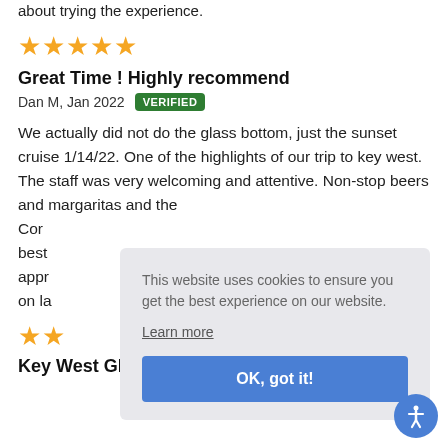about trying the experience.
★★★★★
Great Time ! Highly recommend
Dan M, Jan 2022  VERIFIED
We actually did not do the glass bottom, just the sunset cruise 1/14/22. One of the highlights of our trip to key west. The staff was very welcoming and attentive. Non-stop beers and margaritas and the Cor… best… appr… on la…
★★
Key West Glass-Bottom Boat Tour with Sunset
This website uses cookies to ensure you get the best experience on our website.
Learn more
OK, got it!